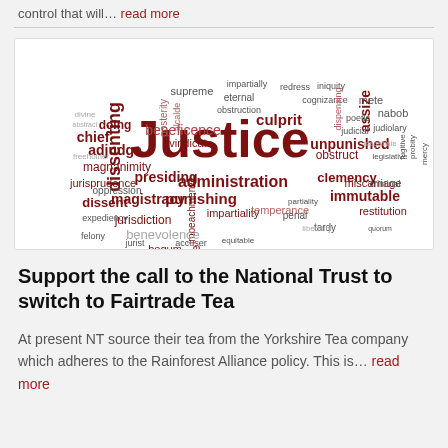control that will… read more
[Figure (infographic): Word cloud on the theme of Justice, with 'Justice' as the largest word in dark red, surrounded by many related legal and moral terms in various sizes and shades of red and grey including: administration, punishing, dissent, magistracy, jurisprudence, jurisdiction, magnanimity, beneficence, adjudge, dissenting, presiding, impartiality, impeachment, benevolence, temperance, unpunished, clemency, obstruct, miscarriage, immutable, restitution, fortitude, rectitude, etc.]
Support the call to the National Trust to switch to Fairtrade Tea
At present NT source their tea from the Yorkshire Tea company which adheres to the Rainforest Alliance policy. This is… read more